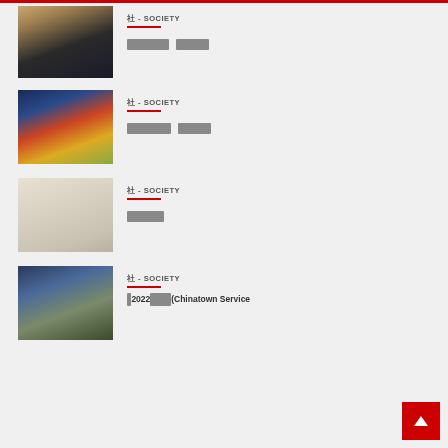[Figure (photo): Two people posing for a photo indoors]
社 - SOCIETY
????????????????? ?????????????
[Figure (photo): Three women posing outdoors]
社 - SOCIETY
????????????????? ?????????????
[Figure (photo): Document with list/table of items in Chinese]
社 - SOCIETY
???????????????
[Figure (screenshot): Video conference grid with multiple participants]
社 - SOCIETY
?2022????????(Chinatown Service